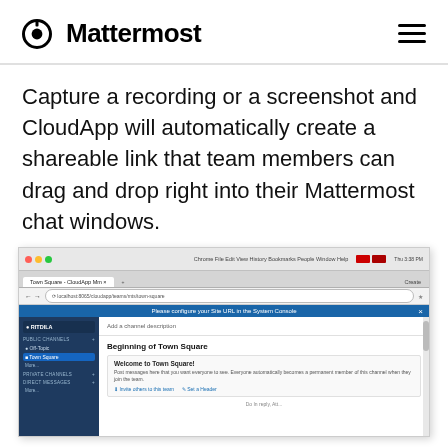Mattermost
Capture a recording or a screenshot and CloudApp will automatically create a shareable link that team members can drag and drop right into their Mattermost chat windows.
[Figure (screenshot): Screenshot of a web browser showing the Mattermost application interface with Town Square channel open, displaying 'Beginning of Town Square' and a 'Welcome to Town Square!' message.]